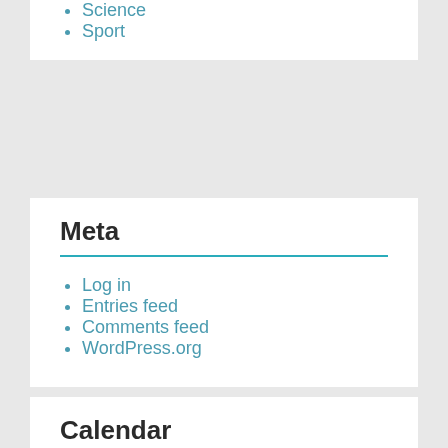Science
Sport
Meta
Log in
Entries feed
Comments feed
WordPress.org
Calendar
| M | T | W | T | F | S | S |
| --- | --- | --- | --- | --- | --- | --- |